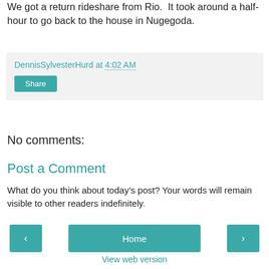We got a return rideshare from Rio. It took around a half-hour to go back to the house in Nugegoda.
DennisSylvesterHurd at 4:02 AM
Share
No comments:
Post a Comment
What do you think about today's post? Your words will remain visible to other readers indefinitely.
‹ Home › View web version Powered by Blogger.